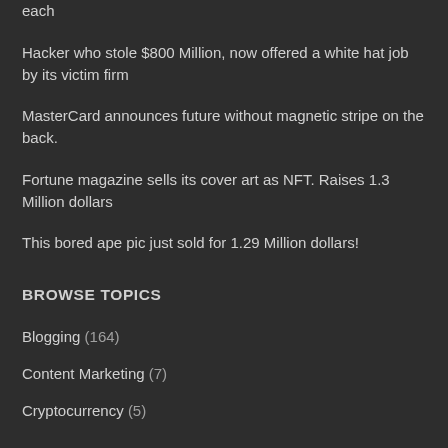each
Hacker who stole $800 Million, now offered a white hat job by its victim firm
MasterCard announces future without magnetic stripe on the back.
Fortune magazine sells its cover art as NFT. Raises 1.3 Million dollars
This bored ape pic just sold for 1.29 Million dollars!
BROWSE TOPICS
Blogging (164)
Content Marketing (7)
Cryptocurrency (5)